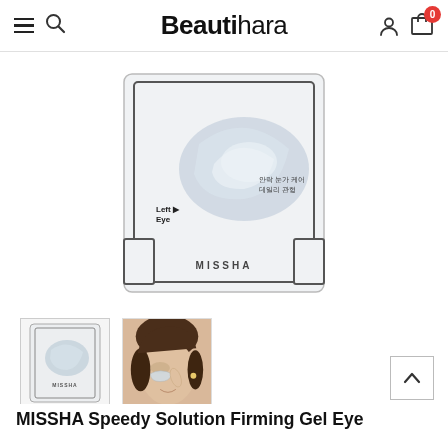Beautihara
[Figure (photo): MISSHA Speedy Solution Firming Gel Eye Patch product packaging showing eye-shaped gel patches on a white/grey card with text 'Left Eye', MISSHA branding, and Korean text]
[Figure (photo): Thumbnail 1: Small product packaging image showing eye patches on card]
[Figure (photo): Thumbnail 2: Woman applying eye patch under eye, smiling]
MISSHA Speedy Solution Firming Gel Eye